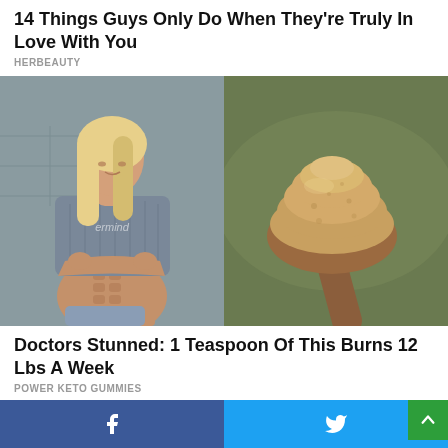14 Things Guys Only Do When They're Truly In Love With You
HERBEAUTY
[Figure (photo): Split image: left half shows a fit blonde woman in a grey crop sweater lifting it to show toned abs; right half shows a wooden spoon heaped with brown powder (spice/supplement)]
Doctors Stunned: 1 Teaspoon Of This Burns 12 Lbs A Week
POWER KETO GUMMIES
[Figure (photo): Partial image of a person's face, cropped at bottom of page]
Facebook share button | Twitter share button